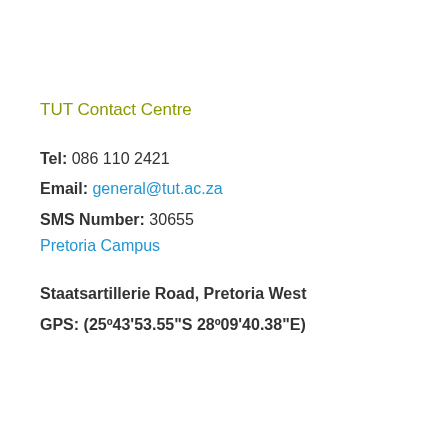TUT Contact Centre
Tel: 086 110 2421
Email: general@tut.ac.za
SMS Number: 30655
Pretoria Campus
Staatsartillerie Road, Pretoria West
GPS: (25º43'53.55"S 28º09'40.38"E)